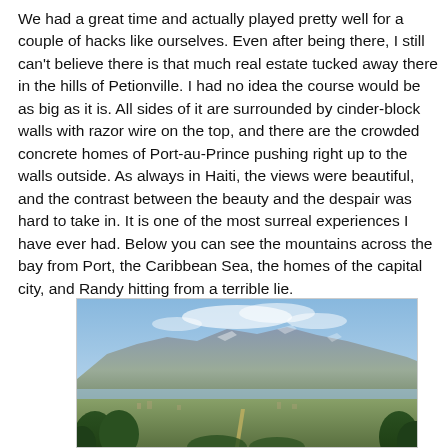We had a great time and actually played pretty well for a couple of hacks like ourselves. Even after being there, I still can't believe there is that much real estate tucked away there in the hills of Petionville. I had no idea the course would be as big as it is. All sides of it are surrounded by cinder-block walls with razor wire on the top, and there are the crowded concrete homes of Port-au-Prince pushing right up to the walls outside. As always in Haiti, the views were beautiful, and the contrast between the beauty and the despair was hard to take in. It is one of the most surreal experiences I have ever had. Below you can see the mountains across the bay from Port, the Caribbean Sea, the homes of the capital city, and Randy hitting from a terrible lie.
[Figure (photo): Landscape photograph showing mountains across a bay, likely the Caribbean Sea, with green trees and city homes in the foreground, blue sky with clouds above.]